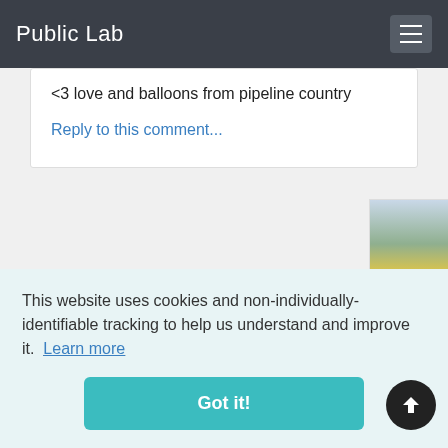Public Lab
<3 love and balloons from pipeline country
Reply to this comment...
patcoyle 6 months ago
This website uses cookies and non-individually-identifiable tracking to help us understand and improve it. Learn more
Got it!